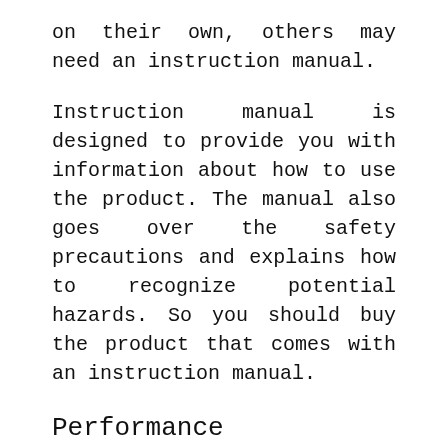on their own, others may need an instruction manual.
Instruction manual is designed to provide you with information about how to use the product. The manual also goes over the safety precautions and explains how to recognize potential hazards. So you should buy the product that comes with an instruction manual.
Performance
When you are planning to buy a Drain Cleaner For Clogged Bathtub, you will definitely think of its performance because nobody wants to waste his money buying a wrong product. So, check ins and outs of the Drain Cleaner For